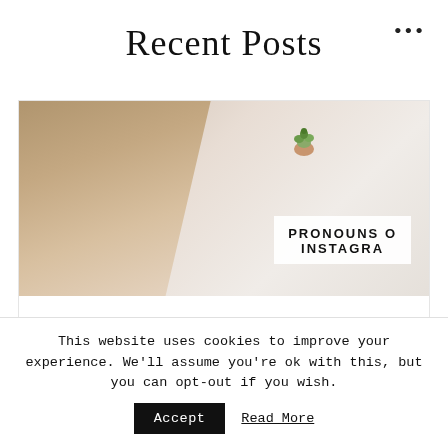Recent Posts
[Figure (photo): Blog post card image showing a person and a succulent plant with text overlay reading 'PRONOUNS ON INSTAGRAM']
Pronouns on Instagram and Why List Them
This website uses cookies to improve your experience. We'll assume you're ok with this, but you can opt-out if you wish.
Accept   Read More